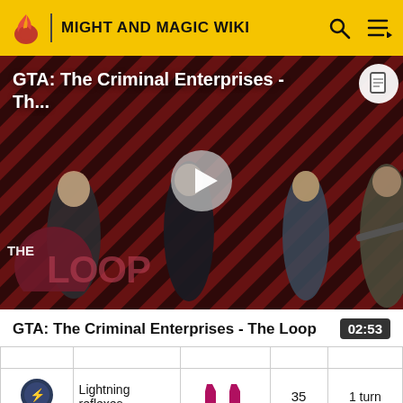MIGHT AND MAGIC WIKI
[Figure (screenshot): GTA: The Criminal Enterprises - The Loop video thumbnail with play button, showing game characters against a red diagonal striped background with 'THE LOOP' logo overlay]
GTA: The Criminal Enterprises - The Loop
02:53
|  | Lightning reflexes |  | 35 | 1 turn |
| --- | --- | --- | --- | --- |
| [icon] | Lightning reflexes | [double quotes icon] | 35 | 1 turn |